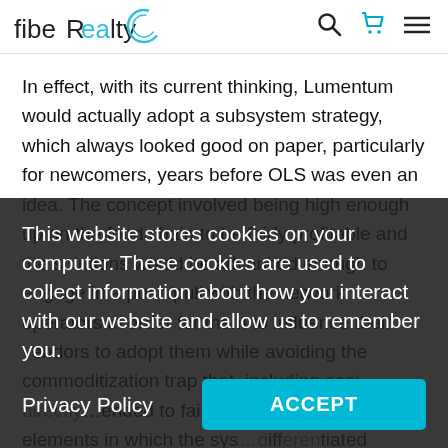fibeRealty
In effect, with its current thinking, Lumentum would actually adopt a subsystem strategy, which always looked good on paper, particularly for newcomers, years before OLS was even an idea. The concept involved being high enough up on the food chain to be fairly profitable and the solutions would be advanced enough to engage in a push/pull with the network operators in order for them to influence their vendors to adopt them while avoiding the commoditization trap that, including cost, directly...tended to fail because these were the elements in which the sys...differentiated themselves, counting to much
This website stores cookies on your computer. These cookies are used to collect information about how you interact with our website and allow us to remember you.
Privacy Policy
ACCEPT